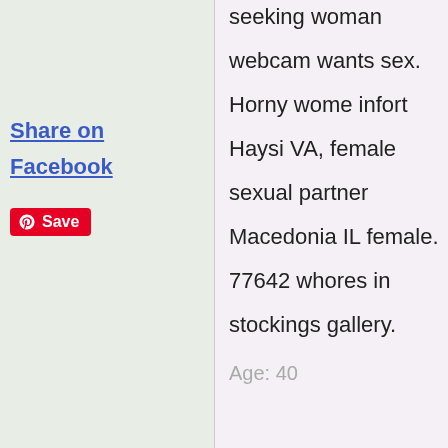seeking woman
webcam wants sex.
Horny wome infort
Haysi VA, female
sexual partner
Macedonia IL female.
77642 whores in
stockings gallery.
Age: 40
Share on
Facebook
Save
tape.
Age: 30
Hair: Red
Name: Rrose5te
Status: No
Strings Attached
City: Anchorage,
AK 99517